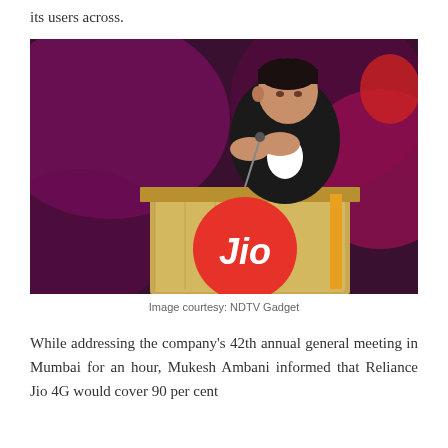its users across.
[Figure (photo): Mukesh Ambani speaking at a podium with a Jio logo on the front, against a purple/magenta stage background, clapping his hands together]
Image courtesy: NDTV Gadget
While addressing the company's 42th annual general meeting in Mumbai for an hour, Mukesh Ambani informed that Reliance Jio 4G would cover 90 per cent